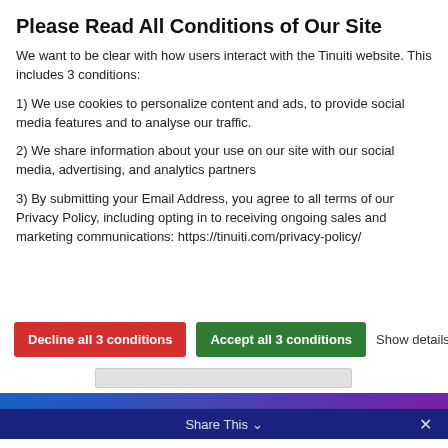Please Read All Conditions of Our Site
We want to be clear with how users interact with the Tinuiti website. This includes 3 conditions:
1) We use cookies to personalize content and ads, to provide social media features and to analyse our traffic.
2) We share information about your use on our site with our social media, advertising, and analytics partners
3) By submitting your Email Address, you agree to all terms of our Privacy Policy, including opting in to receiving ongoing sales and marketing communications: https://tinuiti.com/privacy-policy/
[Figure (other): Two buttons: red 'Decline all 3 conditions' and green 'Accept all 3 conditions', with 'Show details' link and chevron]